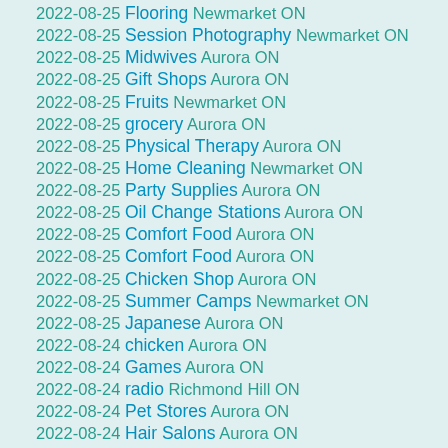2022-08-25 Flooring Newmarket ON
2022-08-25 Session Photography Newmarket ON
2022-08-25 Midwives Aurora ON
2022-08-25 Gift Shops Aurora ON
2022-08-25 Fruits Newmarket ON
2022-08-25 grocery Aurora ON
2022-08-25 Physical Therapy Aurora ON
2022-08-25 Home Cleaning Newmarket ON
2022-08-25 Party Supplies Aurora ON
2022-08-25 Oil Change Stations Aurora ON
2022-08-25 Comfort Food Aurora ON
2022-08-25 Comfort Food Aurora ON
2022-08-25 Chicken Shop Aurora ON
2022-08-25 Summer Camps Newmarket ON
2022-08-25 Japanese Aurora ON
2022-08-24 chicken Aurora ON
2022-08-24 Games Aurora ON
2022-08-24 radio Richmond Hill ON
2022-08-24 Pet Stores Aurora ON
2022-08-24 Hair Salons Aurora ON
2022-08-24 Shopping Newmarket ON
2022-08-24 Gluten-Free Newmarket ON
2022-08-24 Plumbers Newmarket ON